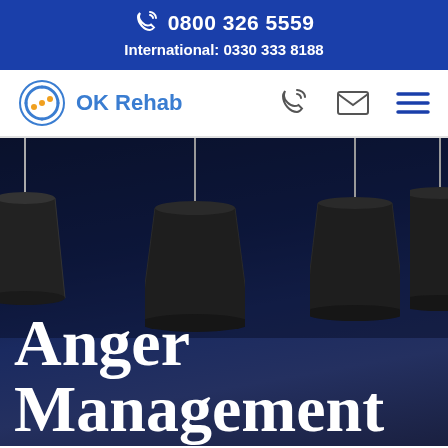0800 326 5559
International: 0330 333 8188
[Figure (logo): OK Rehab logo with circular icon and blue text]
Anger Management